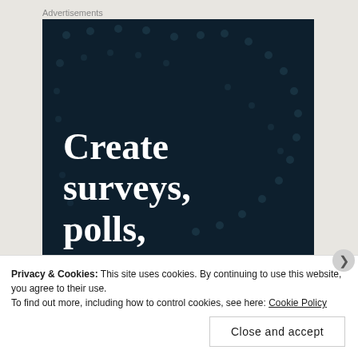Advertisements
[Figure (illustration): Dark navy blue advertisement banner with decorative dot pattern arranged in an arc. Large white bold serif text reads 'Create surveys, polls, quizzes,']
Privacy & Cookies: This site uses cookies. By continuing to use this website, you agree to their use.
To find out more, including how to control cookies, see here: Cookie Policy
Close and accept